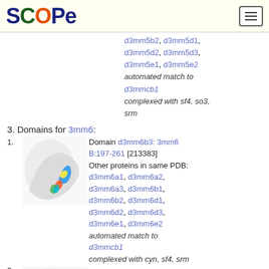SCOPe
d3mm5b2, d3mm5d1, d3mm5d2, d3mm5d3, d3mm5e1, d3mm5e2 automated match to d3mmcb1 complexed with sf4, so3, srm
3. Domains for 3mm6:
1. Domain d3mm6b3: 3mm6 B:197-261 [213383] Other proteins in same PDB: d3mm6a1, d3mm6a2, d3mm6a3, d3mm6b1, d3mm6b2, d3mm6d1, d3mm6d2, d3mm6d3, d3mm6e1, d3mm6e2 automated match to d3mmcb1 complexed with cyn, sf4, srm
2. Domain d3mm6e3: 3mm6
[Figure (illustration): Protein structure ribbon diagram for domain d3mm6b3]